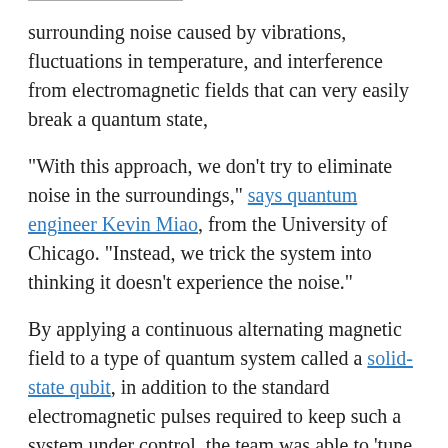surrounding noise caused by vibrations, fluctuations in temperature, and interference from electromagnetic fields that can very easily break a quantum state,
"With this approach, we don't try to eliminate noise in the surroundings," says quantum engineer Kevin Miao, from the University of Chicago. "Instead, we trick the system into thinking it doesn't experience the noise."
By applying a continuous alternating magnetic field to a type of quantum system called a solid-state qubit, in addition to the standard electromagnetic pulses required to keep such a system under control, the team was able to 'tune out' unnecessary noise.